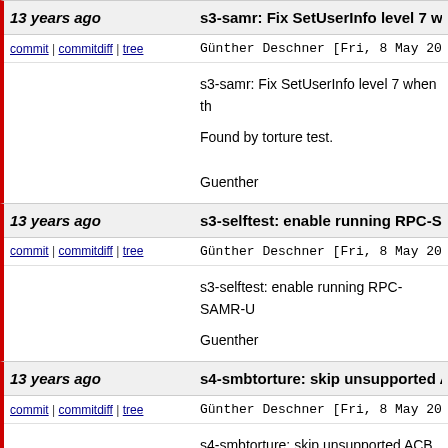13 years ago
s3-samr: Fix SetUserInfo level 7 when th
commit | commitdiff | tree
Günther Deschner [Fri, 8 May 2009 22
s3-samr: Fix SetUserInfo level 7 when th

Found by torture test.

Guenther
13 years ago
s3-selftest: enable running RPC-SAMI
commit | commitdiff | tree
Günther Deschner [Fri, 8 May 2009 20
s3-selftest: enable running RPC-SAMR-U

Guenther
13 years ago
s4-smbtorture: skip unsupported ACB
commit | commitdiff | tree
Günther Deschner [Fri, 8 May 2009 20
s4-smbtorture: skip unsupported ACB bit

Guenther